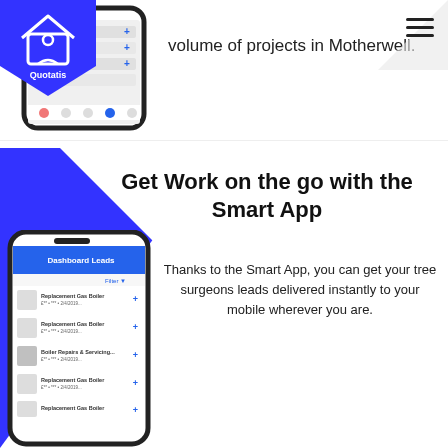[Figure (screenshot): Quotatis logo (blue house icon with Quotatis text) in top left corner]
[Figure (screenshot): Hamburger menu icon (three horizontal lines) in top right corner]
[Figure (screenshot): Smartphone mockup showing app interface with list of items]
volume of projects in Motherwell.
[Figure (screenshot): Blue triangle geometric background on left side of bottom section]
Get Work on the go with the Smart App
[Figure (screenshot): Smartphone mockup showing Quotatis app with list of leads including Replacement Gas Boiler, Replacement Gas Boiler, Boiler Repairs & Servicing, and Replacement Gas Boiler]
Thanks to the Smart App, you can get your tree surgeons leads delivered instantly to your mobile wherever you are.